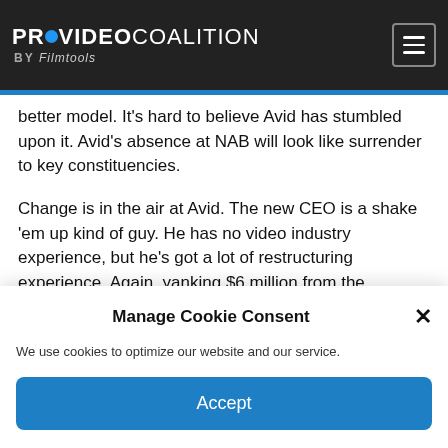PROVIDEO COALITION BY Filmtools
better model. It's hard to believe Avid has stumbled upon it. Avid's absence at NAB will look like surrender to key constituencies.
Change is in the air at Avid. The new CEO is a shake 'em up kind of guy. He has no video industry experience, but he's got a lot of restructuring experience. Again, yanking $6 million from the marketing budget makes the
Manage Cookie Consent
We use cookies to optimize our website and our service.
Accept